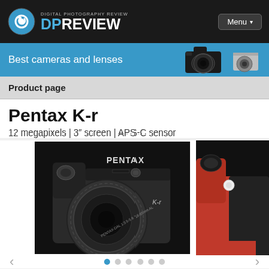DIGITAL PHOTOGRAPHY REVIEW DPREVIEW
Best cameras and lenses
Product page
Pentax K-r
12 megapixels | 3" screen | APS-C sensor
[Figure (photo): Pentax K-r DSLR camera (black) with lens, front view on black background]
[Figure (photo): Partial view of red/black Pentax K-r variant on right side of carousel]
DPReview Score 71%